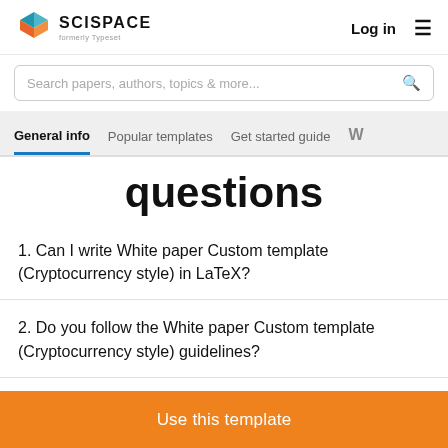SCISPACE formerly Typeset — Log in
Search papers, authors, topics & more...
General info  Popular templates  Get started guide  W
questions
1. Can I write White paper Custom template (Cryptocurrency style) in LaTeX?
2. Do you follow the White paper Custom template (Cryptocurrency style) guidelines?
Use this template